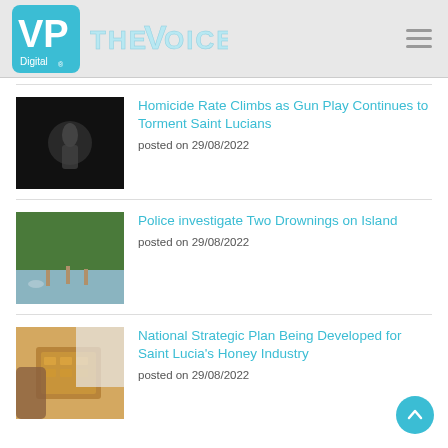VP Digital — THE VOICE
[Figure (photo): Black and white photo of a hand holding a gun pointed toward the camera]
Homicide Rate Climbs as Gun Play Continues to Torment Saint Lucians
posted on 29/08/2022
[Figure (photo): People standing on a beach with dense green trees in the background near water]
Police investigate Two Drownings on Island
posted on 29/08/2022
[Figure (photo): Person in white shirt examining a honeycomb frame from a beehive]
National Strategic Plan Being Developed for Saint Lucia's Honey Industry
posted on 29/08/2022